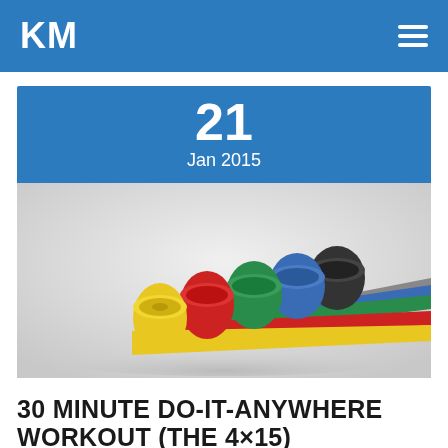KM
[Figure (photo): Five rolls of resistance exercise bands in yellow, red, green, blue, and black/gray colors, arranged in ascending size order with bands unrolled and fanned out on a white background.]
30 MINUTE DO-IT-ANYWHERE WORKOUT (THE 4×15)